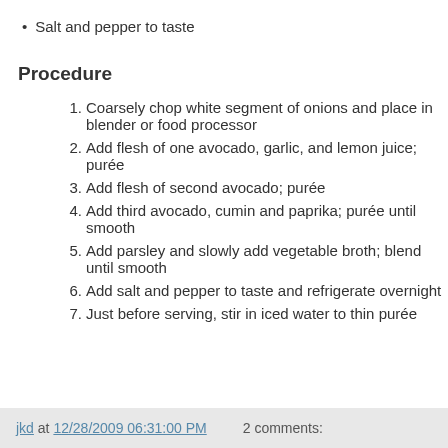Salt and pepper to taste
Procedure
Coarsely chop white segment of onions and place in blender or food processor
Add flesh of one avocado, garlic, and lemon juice; purée
Add flesh of second avocado; purée
Add third avocado, cumin and paprika; purée until smooth
Add parsley and slowly add vegetable broth; blend until smooth
Add salt and pepper to taste and refrigerate overnight
Just before serving, stir in iced water to thin purée
jkd at 12/28/2009 06:31:00 PM   2 comments: